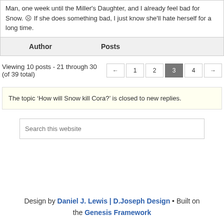Man, one week until the Miller's Daughter, and I already feel bad for Snow. ☹ If she does something bad, I just know she'll hate herself for a long time.
| Author | Posts |
| --- | --- |
Viewing 10 posts - 21 through 30 (of 39 total)
The topic 'How will Snow kill Cora?' is closed to new replies.
Search this website
Design by Daniel J. Lewis | D.Joseph Design • Built on the Genesis Framework